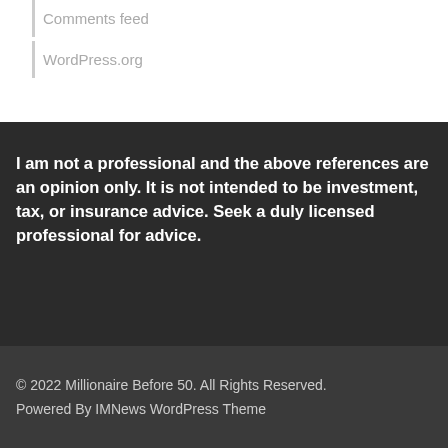Comments feed
WordPress.org
I am not a professional and the above references are an opinion only.  It is not intended to be investment, tax, or insurance advice. Seek a duly licensed professional for advice.
© 2022 Millionaire Before 50. All Rights Reserved.
Powered By IMNews WordPress Theme